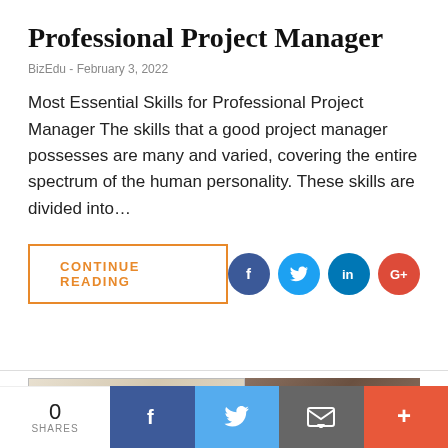Professional Project Manager
BizEdu  -  February 3, 2022
Most Essential Skills for Professional Project Manager The skills that a good project manager possesses are many and varied, covering the entire spectrum of the human personality. These skills are divided into…
[Figure (other): CONTINUE READING button (orange outlined) and social share icons (Facebook, Twitter, LinkedIn, Google+)]
[Figure (photo): Partial image strip showing two photos side by side at bottom of article card]
0 SHARES | Facebook share | Twitter share | Email share | More